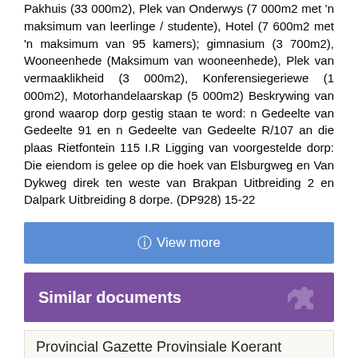Pakhuis (33 000m2), Plek van Onderwys (7 000m2 met 'n maksimum van leerlinge / studente), Hotel (7 600m2 met 'n maksimum van 95 kamers); gimnasium (3 700m2), Wooneenhede (Maksimum van wooneenhede), Plek van vermaaklikheid (3 000m2), Konferensiegeriewe (1 000m2), Motorhandelaarskap (5 000m2) Beskrywing van grond waarop dorp gestig staan te word: n Gedeelte van Gedeelte 91 en n Gedeelte van Gedeelte R/107 an die plaas Rietfontein 115 I.R Ligging van voorgestelde dorp: Die eiendom is gelee op die hoek van Elsburgweg en Van Dykweg direk ten weste van Brakpan Uitbreiding 2 en Dalpark Uitbreiding 8 dorpe. (DP928) 15-22
[Figure (other): Blue button with text 'View more' and an info icon]
Similar documents
Provincial Gazette Provinsiale Koerant
The Province of Gauteng UNITY IN DIVERSITY Die Provinsie Van Gauteng Provincial Gazette Provinsiale Koerant